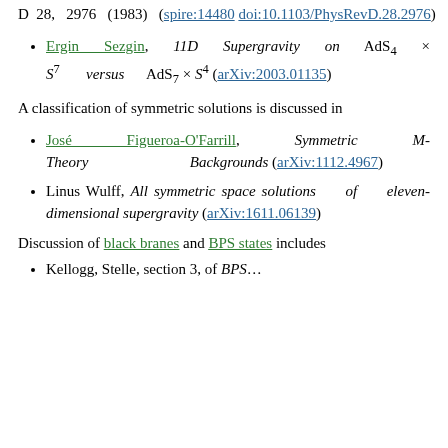D 28, 2976 (1983) (spire:14480 doi:10.1103/PhysRevD.28.2976)
Ergin Sezgin, 11D Supergravity on AdS4 × S7 versus AdS7 × S4 (arXiv:2003.01135)
A classification of symmetric solutions is discussed in
José Figueroa-O'Farrill, Symmetric M-Theory Backgrounds (arXiv:1112.4967)
Linus Wulff, All symmetric space solutions of eleven-dimensional supergravity (arXiv:1611.06139)
Discussion of black branes and BPS states includes
Kellogg, Stelle, section 3, of BPS...